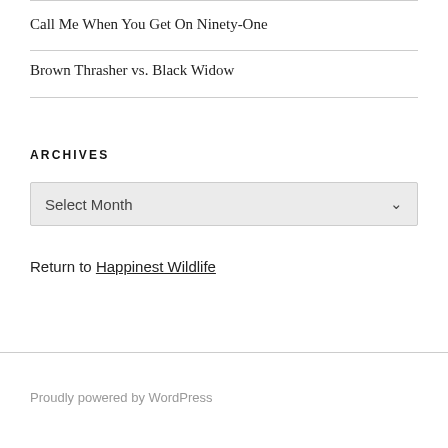Call Me When You Get On Ninety-One
Brown Thrasher vs. Black Widow
ARCHIVES
Select Month
Return to Happinest Wildlife
Proudly powered by WordPress